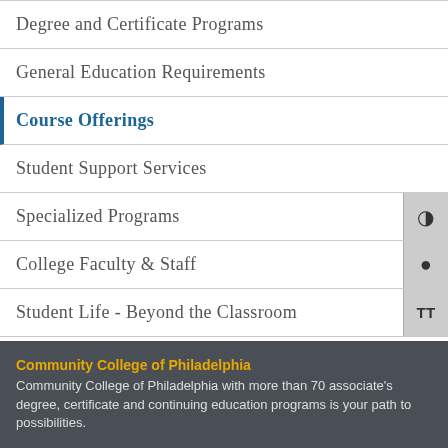Degree and Certificate Programs
General Education Requirements
Course Offerings
Student Support Services
Specialized Programs
College Faculty & Staff
Student Life - Beyond the Classroom
Archived Catalogs
Community College of Philadelphia
Community College of Philadelphia with more than 70 associate's degree, certificate and continuing education programs is your path to possibilities.